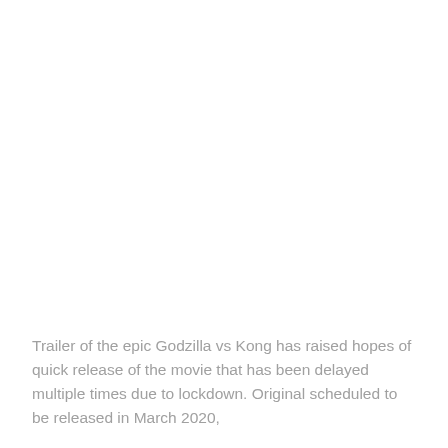Trailer of the epic Godzilla vs Kong has raised hopes of quick release of the movie that has been delayed multiple times due to lockdown. Original scheduled to be released in March 2020,